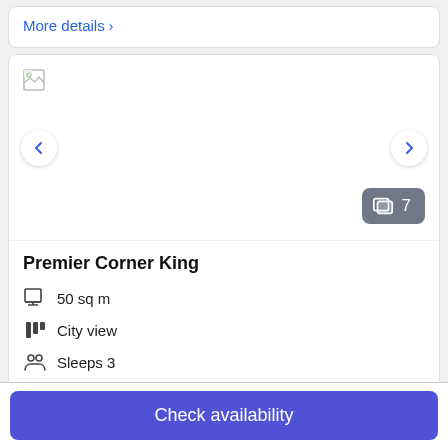More details >
[Figure (screenshot): Hotel room listing image carousel with broken image placeholder, left and right navigation arrows, and a photo count badge showing 7 photos]
Premier Corner King
50 sq m
City view
Sleeps 3
1 King Bed
Check availability